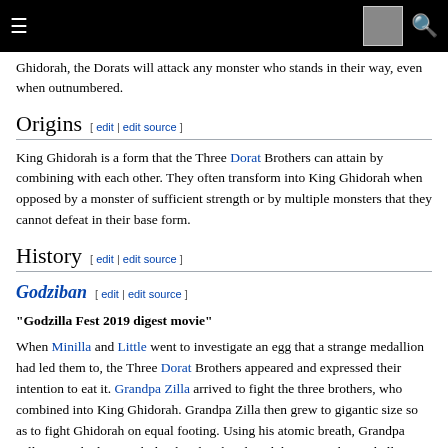[hamburger menu] [flag image] [search icon]
Ghidorah, the Dorats will attack any monster who stands in their way, even when outnumbered.
Origins [ edit | edit source ]
King Ghidorah is a form that the Three Dorat Brothers can attain by combining with each other. They often transform into King Ghidorah when opposed by a monster of sufficient strength or by multiple monsters that they cannot defeat in their base form.
History [ edit | edit source ]
Godziban [ edit | edit source ]
"Godzilla Fest 2019 digest movie"
When Minilla and Little went to investigate an egg that a strange medallion had led them to, the Three Dorat Brothers appeared and expressed their intention to eat it. Grandpa Zilla arrived to fight the three brothers, who combined into King Ghidorah. Grandpa Zilla then grew to gigantic size so as to fight Ghidorah on equal footing. Using his atomic breath, Grandpa Zilla triumphed over Ghidorah, who abandoned the egg to the Godzillas. The egg then hatched into Moshu-Moshu.